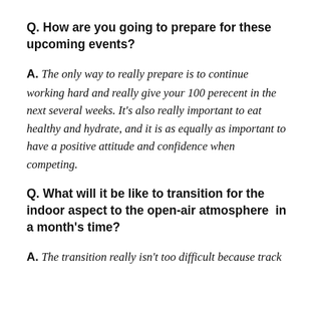Q. How are you going to prepare for these upcoming events?
A. The only way to really prepare is to continue working hard and really give your 100 perecent in the next several weeks. It's also really important to eat healthy and hydrate, and it is as equally as important to have a positive attitude and confidence when competing.
Q. What will it be like to transition for the indoor aspect to the open-air atmosphere  in a month's time?
A. The transition really isn't too difficult because track